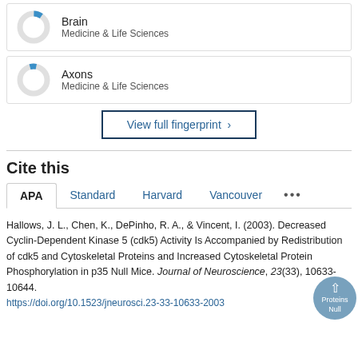[Figure (donut-chart): Small donut chart with blue slice indicating partial value for Brain metric]
Brain
Medicine & Life Sciences
[Figure (donut-chart): Small donut chart with blue slice indicating partial value for Axons metric]
Axons
Medicine & Life Sciences
View full fingerprint >
Cite this
APA    Standard    Harvard    Vancouver    ...
Hallows, J. L., Chen, K., DePinho, R. A., & Vincent, I. (2003). Decreased Cyclin-Dependent Kinase 5 (cdk5) Activity Is Accompanied by Redistribution of cdk5 and Cytoskeletal Proteins and Increased Cytoskeletal Protein Phosphorylation in p35 Null Mice. Journal of Neuroscience, 23(33), 10633-10644. https://doi.org/10.1523/jneurosci.23-33-10633-2003